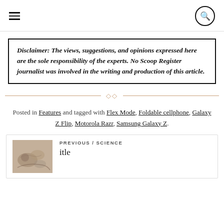Disclaimer: The views, suggestions, and opinions expressed here are the sole responsibility of the experts. No Scoop Register journalist was involved in the writing and production of this article.
Posted in Features and tagged with Flex Mode, Foldable cellphone, Galaxy Z Flip, Motorola Razr, Samsung Galaxy Z.
[Figure (photo): Thumbnail image of a sandy/rocky surface, likely a fossil or terrain photo]
PREVIOUS / SCIENCE itle